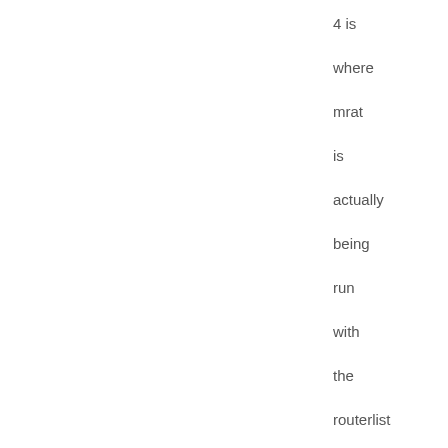4 is where mrat is actually being run with the routerlist (in my case it's called “swlist”) and our custom command file. For the sake of